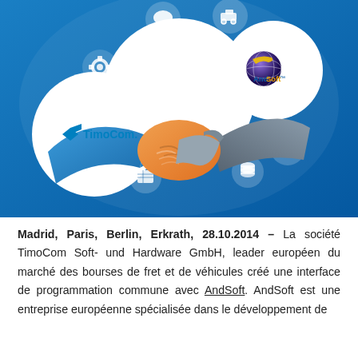[Figure (illustration): Promotional infographic on a blue gradient background showing two handshaking figures (one in blue sleeve, one in grey sleeve) with an orange handshake in the center. On the left is a white circle with the TimoCom logo; on the upper right is a white circle with the AndSoft logo. Around the central white circle are small white icons: speech bubble, truck, gear, warehouse, database, and spreadsheet.]
Madrid, Paris, Berlin, Erkrath, 28.10.2014 – La société TimoCom Soft- und Hardware GmbH, leader européen du marché des bourses de fret et de véhicules créé une interface de programmation commune avec AndSoft. AndSoft est une entreprise européenne spécialisée dans le développement de